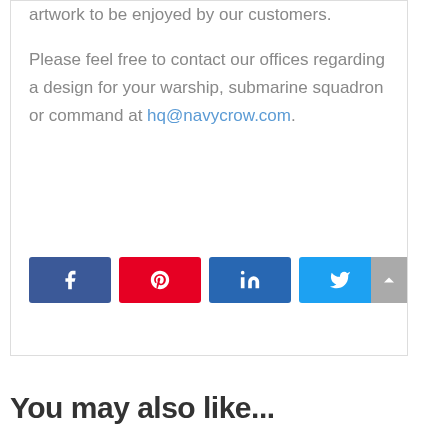artwork to be enjoyed by our customers.

Please feel free to contact our offices regarding a design for your warship, submarine squadron or command at hq@navycrow.com.
[Figure (infographic): Four social media share buttons: Facebook (blue), Pinterest (red), LinkedIn (dark blue), Twitter (light blue), and a gray scroll-to-top arrow button on the right.]
You may also like...